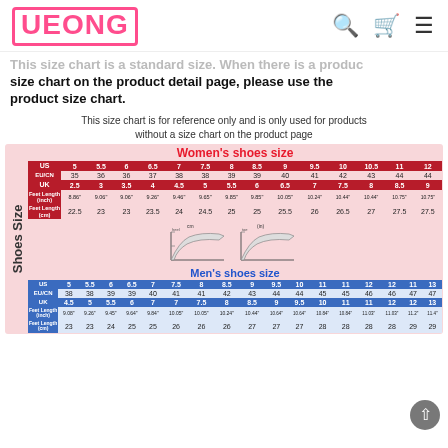UEONG
This size chart is a standard size. When there is a product size chart on the product detail page, please use the product size chart.
This size chart is for reference only and is only used for products without a size chart on the product page
|  | US | 5 | 5.5 | 6 | 6.5 | 7 | 7.5 | 8 | 8.5 | 9 | 9.5 | 10 | 10.5 | 11 | 12 |
| --- | --- | --- | --- | --- | --- | --- | --- | --- | --- | --- | --- | --- | --- | --- | --- |
| EU/CN | 35 | 36 | 36 | 37 | 38 | 38 | 39 | 39 | 40 | 41 | 42 | 43 | 44 | 44 |
| UK | 2.5 | 3 | 3.5 | 4 | 4.5 | 5 | 5.5 | 6 | 6.5 | 7 | 7.5 | 8 | 8.5 | 9 |
| Feet Length (inch) | 8.86" | 9.06" | 9.06" | 9.26" | 9.46" | 9.65" | 9.85" | 9.85" | 10.05" | 10.24" | 10.44" | 10.44" | 10.75" | 10.75" |
| Feet Length (cm) | 22.5 | 23 | 23 | 23.5 | 24 | 24.5 | 25 | 25 | 25.5 | 26 | 26.5 | 27 | 27.5 | 27.5 |
[Figure (illustration): Foot measurement diagrams showing cm and inch measurement methods]
|  | US | 5 | 5.5 | 6 | 6.5 | 7 | 7.5 | 8 | 8.5 | 9 | 9.5 | 10 | 11 | 11 | 12 | 12 | 11 | 13 |
| --- | --- | --- | --- | --- | --- | --- | --- | --- | --- | --- | --- | --- | --- | --- | --- | --- | --- | --- |
| EU/CN | 38 | 38 | 39 | 39 | 40 | 41 | 41 | 42 | 43 | 44 | 44 | 45 | 45 | 46 | 46 | 47 | 47 |
| UK | 4.5 | 5 | 5.5 | 6 | 7 | 7 | 7.5 | 8 | 8.5 | 9 | 9.5 | 10 | 11 | 11 | 12 | 12 | 13 |
| Feet Length (inch) | 9.08" | 9.26" | 9.45" | 9.64" | 9.84" | 10.05" | 10.05" | 10.24" | 10.44" | 10.64" | 10.64" | 10.84" | 10.84" | 11.03" | 11.03" | 11.2" | 11.4" |
| Feet Length (cm) | 23 | 23 | 24 | 25 | 25 | 26 | 26 | 26 | 27 | 27 | 27 | 28 | 28 | 28 | 28 | 29 | 29 |